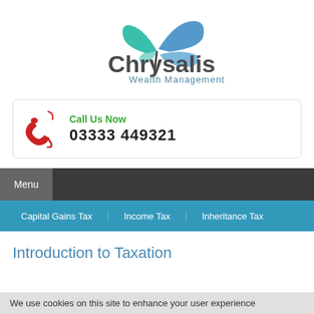[Figure (logo): Chrysalis Wealth Management logo with butterfly graphic and company name]
Call Us Now
03333 449321
Menu
Capital Gains Tax | Income Tax | Inheritance Tax
Introduction to Taxation
We use cookies on this site to enhance your user experience